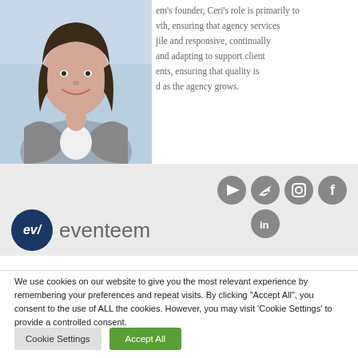[Figure (photo): Headshot of a woman with long brown hair, wearing a grey blazer and white shirt, smiling]
em's founder, Ceri's role is primarily to vth, ensuring that agency services jile and responsive, continually and adapting to support client ents, ensuring that quality is d as the agency grows.
[Figure (logo): Eventeem logo: dark navy circle with 'ev/' monogram in white, followed by 'eventeem' in grey sans-serif text]
[Figure (infographic): Social media icons: YouTube, Twitter, Instagram, Facebook, LinkedIn — all grey circles with white icons]
We use cookies on our website to give you the most relevant experience by remembering your preferences and repeat visits. By clicking "Accept All", you consent to the use of ALL the cookies. However, you may visit 'Cookie Settings' to provide a controlled consent.
Cookie Settings
Accept All